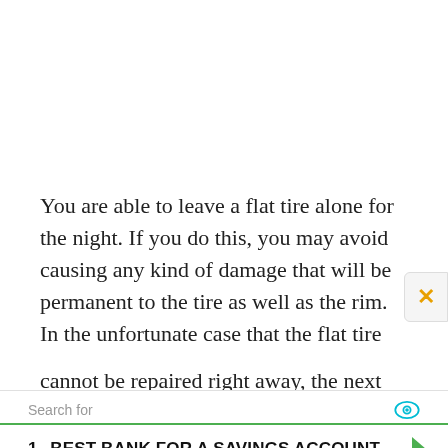You are able to leave a flat tire alone for the night. If you do this, you may avoid causing any kind of damage that will be permanent to the tire as well as the rim. In the unfortunate case that the flat tire cannot be repaired right away, the next best thing to
1. BEST BANK FOR A SAVINGS ACCOUNT
2. STOCKS TO INVEST IN
Ad | Business Focus